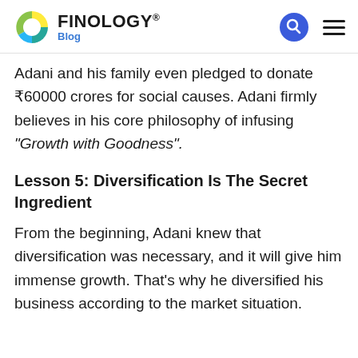FINOLOGY® Blog
Adani and his family even pledged to donate ₹60000 crores for social causes. Adani firmly believes in his core philosophy of infusing "Growth with Goodness".
Lesson 5: Diversification Is The Secret Ingredient
From the beginning, Adani knew that diversification was necessary, and it will give him immense growth. That's why he diversified his business according to the market situation.